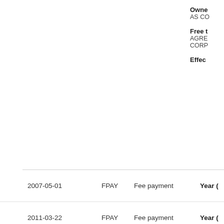| Date | Code | Description | Owner | Free | Effec |
| --- | --- | --- | --- | --- | --- |
| 2007-05-01 | FPAY | Fee payment | Year ( |
| 2011-03-22 | FPAY | Fee payment | Year ( |
| 2015-04-16 | FPAY | Fee payment | Year ( |
Concepts
machine-extracted
| Name | Image | Sections | Count | C |
| --- | --- | --- | --- | --- |